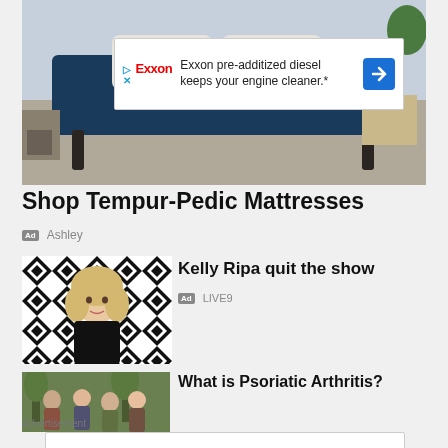[Figure (photo): Bedroom with blue upholstered bed and Exxon advertisement banner overlay]
Exxon pre-additized diesel keeps your engine cleaner.*
Shop Tempur-Pedic Mattresses
Ad Ashley
[Figure (photo): Kelly Ripa portrait on geometric black and white background]
Kelly Ripa quit the show
Ad LIVE9
[Figure (photo): Group of older adults outdoors]
What is Psoriatic Arthritis?
Advertisement
Exxon pre-additized diesel keeps your engine cleaner.*